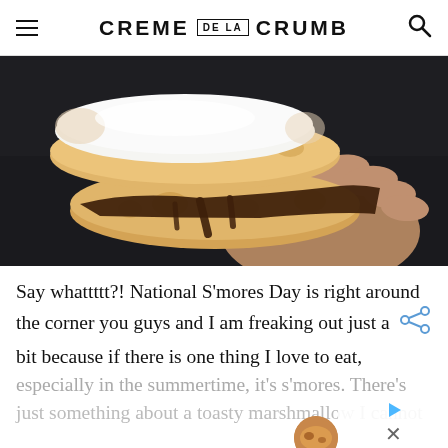CREME DE LA CRUMB
[Figure (photo): A hand holding a s'more made with cookies, chocolate, and toasted marshmallow against a dark background]
Say whattttt?! National S'mores Day is right around the corner you guys and I am freaking out just a bit because if there is one thing I love to eat, especially in the summertime, it's s'mores. There's just something about a toasty marshmallow I cannot